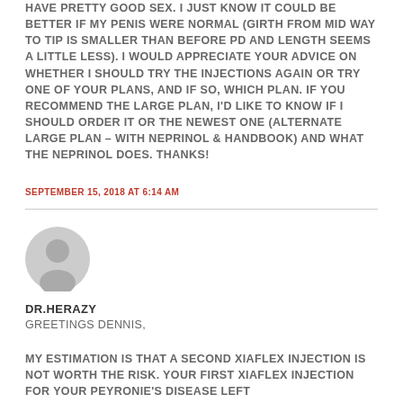HAVE PRETTY GOOD SEX. I JUST KNOW IT COULD BE BETTER IF MY PENIS WERE NORMAL (GIRTH FROM MID WAY TO TIP IS SMALLER THAN BEFORE PD AND LENGTH SEEMS A LITTLE LESS). I WOULD APPRECIATE YOUR ADVICE ON WHETHER I SHOULD TRY THE INJECTIONS AGAIN OR TRY ONE OF YOUR PLANS, AND IF SO, WHICH PLAN. IF YOU RECOMMEND THE LARGE PLAN, I'D LIKE TO KNOW IF I SHOULD ORDER IT OR THE NEWEST ONE (ALTERNATE LARGE PLAN – WITH NEPRINOL & HANDBOOK) AND WHAT THE NEPRINOL DOES. THANKS!
SEPTEMBER 15, 2018 AT 6:14 AM
[Figure (illustration): Generic user avatar icon, a grey circle with a silhouette of a person]
DR.HERAZY
GREETINGS DENNIS,
MY ESTIMATION IS THAT A SECOND XIAFLEX INJECTION IS NOT WORTH THE RISK. YOUR FIRST XIAFLEX INJECTION FOR YOUR PEYRONIE'S DISEASE LEFT